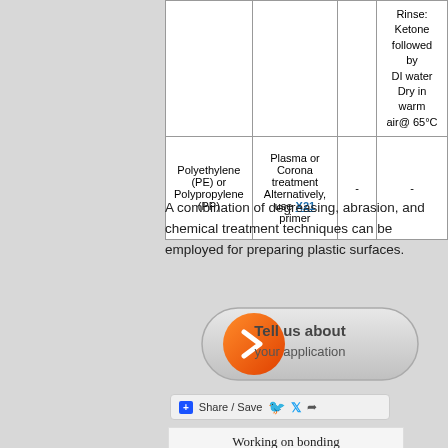|  |  |  |  |
| --- | --- | --- | --- |
|  |  |  | Rinse: Ketone followed by DI water
Dry in warm air@ 65°C |
| Polyethylene (PE) or Polypropylene (PP) | Plasma or Corona treatment Alternatively, use X21 primer | - | - |
A combination of degreasing, abrasion, and chemical treatment techniques can be employed for preparing plastic surfaces.
[Figure (infographic): Orange and grey rounded button with text 'Tell us about your application' and a right-arrow icon]
[Figure (infographic): Share/Save bar with Facebook, Twitter and share icons]
[Figure (infographic): Banner: 'Working on bonding PLASTIC SUBSTRATES?' with orange 'TELL US ABOUT YOUR APPLICATION' button]